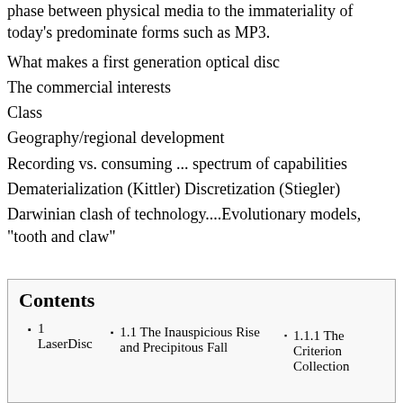phase between physical media to the immateriality of today's predominate forms such as MP3.
What makes a first generation optical disc
The commercial interests
Class
Geography/regional development
Recording vs. consuming ... spectrum of capabilities
Dematerialization (Kittler) Discretization (Stiegler)
Darwinian clash of technology....Evolutionary models, "tooth and claw"
Contents
1 LaserDisc
1.1 The Inauspicious Rise and Precipitous Fall
1.1.1 The Criterion Collection